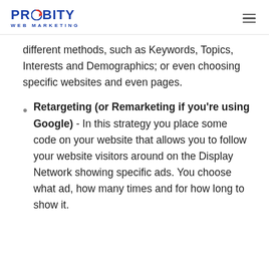PROBITY WEB MARKETING
different methods, such as Keywords, Topics, Interests and Demographics; or even choosing specific websites and even pages.
Retargeting (or Remarketing if you're using Google) - In this strategy you place some code on your website that allows you to follow your website visitors around on the Display Network showing specific ads. You choose what ad, how many times and for how long to show it.